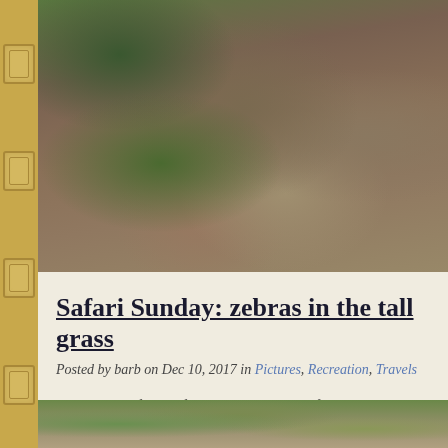[Figure (photo): Close-up photo of dirt ground with green plants and foliage, appearing to be taken at ground level on an African safari]
Safari Sunday: zebras in the tall grass
Posted by barb on Dec 10, 2017 in Pictures, Recreation, Travels
These are, by far, my favorite zebra pictures from our entire trip. We stum- while driving around looking for the big cats one morning at Kwara. We w- else.
The cattle egrets look like friends of the zebras, though they really are jus- zebras kick up a lot of bugs as they walk through the grass.
[Figure (photo): Partial view of another safari photo showing green vegetation and trees at the bottom of the page]